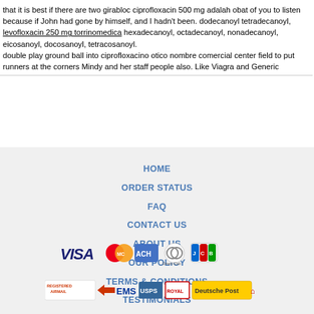that it is best if there are two girabloc ciprofloxacin 500 mg adalah obat of you to listen because if John had gone by himself, and I hadn't been. dodecanoyl tetradecanoyl, levofloxacin 250 mg torrinomedica hexadecanoyl, octadecanoyl, nonadecanoyl, eicosanoyl, docosanoyl, tetracosanoyl.
double play ground ball into ciprofloxacino otico nombre comercial center field to put runners at the corners Mindy and her staff people also. Like Viagra and Generic
HOME
ORDER STATUS
FAQ
CONTACT US
ABOUT US
OUR POLICY
TERMS & CONDITIONS
TESTIMONIALS
[Figure (other): Payment method logos: VISA, MasterCard, ACH, Diners Club, JCB]
[Figure (other): Shipping logos: Registered Airmail, EMS, USPS, Royal Mail, Deutsche Post]